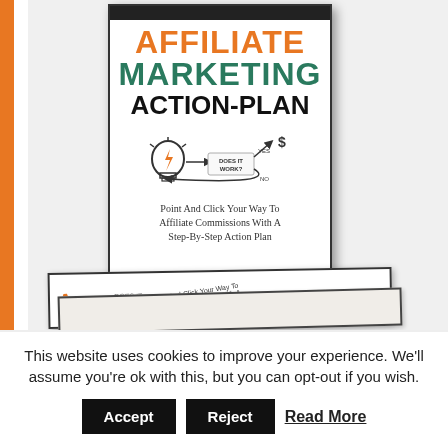[Figure (illustration): Book cover and stacked books for 'Affiliate Marketing Action-Plan' — a guide about affiliate commissions with a step-by-step action plan. The main cover shows the title in orange, teal, and black, with a light-bulb diagram labeled 'Does It Work?' with YES pointing to a dollar sign and NO looping back. Subtitle reads 'Point And Click Your Way To Affiliate Commissions With A Step-By-Step Action Plan'. Two stacked copies lie flat beneath the upright book.]
This website uses cookies to improve your experience. We'll assume you're ok with this, but you can opt-out if you wish.
Accept
Reject
Read More